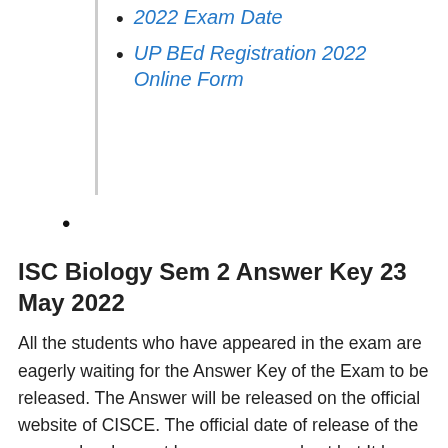2022 Exam Date
UP BEd Registration 2022 Online Form
ISC Biology Sem 2 Answer Key 23 May 2022
All the students who have appeared in the exam are eagerly waiting for the Answer Key of the Exam to be released. The Answer will be released on the official website of CISCE. The official date of release of the answer key has not been announced yet but It has been expected to be released soon. By downloading the answer